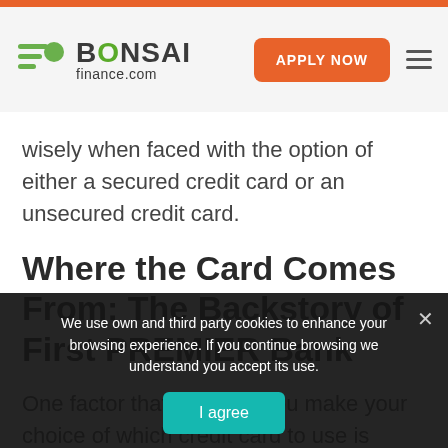BONSAI finance.com — APPLY NOW
wisely when faced with the option of either a secured credit card or an unsecured credit card.
Where the Card Comes From: The Backstory of First PREMIER Bank
One factor that can help you make your choice of which credit card to use is knowing more about the
We use own and third party cookies to enhance your browsing experience. If you continue browsing we understand you accept its use.